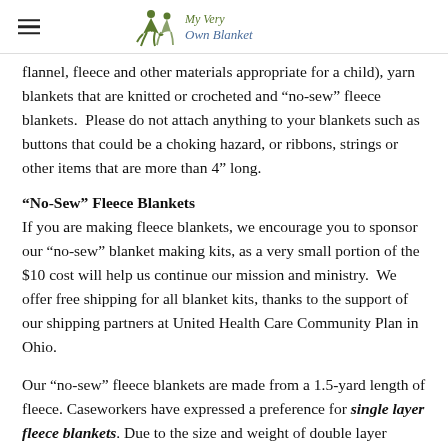My Very Own Blanket
flannel, fleece and other materials appropriate for a child), yarn blankets that are knitted or crocheted and “no-sew” fleece blankets.  Please do not attach anything to your blankets such as buttons that could be a choking hazard, or ribbons, strings or other items that are more than 4" long.
“No-Sew” Fleece Blankets
If you are making fleece blankets, we encourage you to sponsor our “no-sew” blanket making kits, as a very small portion of the $10 cost will help us continue our mission and ministry.  We offer free shipping for all blanket kits, thanks to the support of our shipping partners at United Health Care Community Plan in Ohio.
Our “no-sew” fleece blankets are made from a 1.5-yard length of fleece. Caseworkers have expressed a preference for single layer fleece blankets. Due to the size and weight of double layer blankets, they are limited to giving them to older children. Single